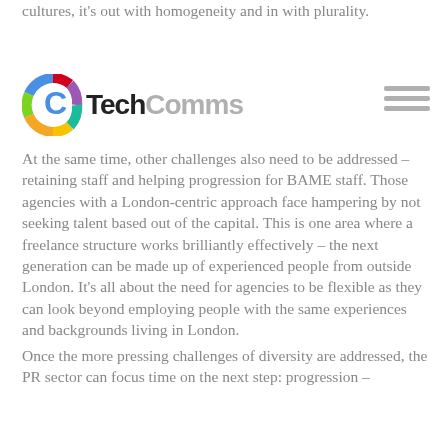cultures, it's out with homogeneity and in with plurality.
[Figure (logo): TechComms logo: colourful circular C icon with 'Tech' in dark and 'Comms' in grey text]
At the same time, other challenges also need to be addressed – retaining staff and helping progression for BAME staff. Those agencies with a London-centric approach face hampering by not seeking talent based out of the capital. This is one area where a freelance structure works brilliantly effectively – the next generation can be made up of experienced people from outside London. It's all about the need for agencies to be flexible as they can look beyond employing people with the same experiences and backgrounds living in London.
Once the more pressing challenges of diversity are addressed, the PR sector can focus time on the next step: progression –